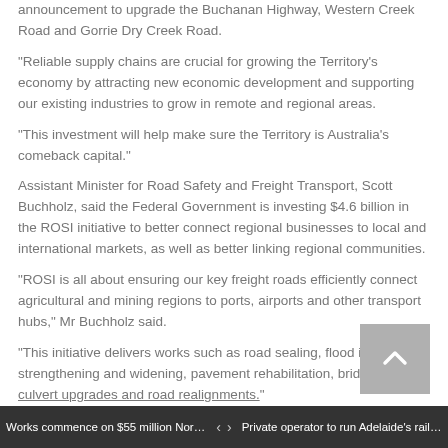announcement to upgrade the Buchanan Highway, Western Creek Road and Gorrie Dry Creek Road.
"Reliable supply chains are crucial for growing the Territory's economy by attracting new economic development and supporting our existing industries to grow in remote and regional areas.
"This investment will help make sure the Territory is Australia's comeback capital."
Assistant Minister for Road Safety and Freight Transport, Scott Buchholz, said the Federal Government is investing $4.6 billion in the ROSI initiative to better connect regional businesses to local and international markets, as well as better linking regional communities.
"ROSI is all about ensuring our key freight roads efficiently connect agricultural and mining regions to ports, airports and other transport hubs," Mr Buchholz said.
"This initiative delivers works such as road sealing, flood immunity, strengthening and widening, pavement rehabilitation, bridge and culvert upgrades and road realignments."
Works commence on $55 million Northe... | < > | Private operator to run Adelaide's rail net...